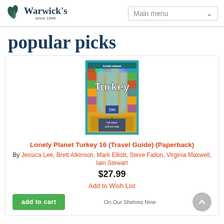Warwick's since 1896 | Main menu
popular picks
[Figure (photo): Cover of Lonely Planet Turkey 16 travel guide book — colorful mosaic/tile pattern with arched doorway and the word 'Turkey' in white text]
Lonely Planet Turkey 16 (Travel Guide) (Paperback)
By Jessica Lee, Brett Atkinson, Mark Elliott, Steve Fallon, Virginia Maxwell, Iain Stewart
$27.99
Add to Wish List
add to cart
On Our Shelves Now